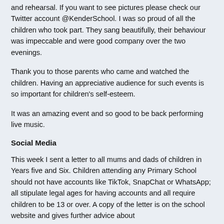and rehearsal. If you want to see pictures please check our Twitter account @KenderSchool. I was so proud of all the children who took part. They sang beautifully, their behaviour was impeccable and were good company over the two evenings.
Thank you to those parents who came and watched the children. Having an appreciative audience for such events is so important for children's self-esteem.
It was an amazing event and so good to be back performing live music.
Social Media
This week I sent a letter to all mums and dads of children in Years five and Six. Children attending any Primary School should not have accounts like TikTok, SnapChat or WhatsApp; all stipulate legal ages for having accounts and all require children to be 13 or over. A copy of the letter is on the school website and gives further advice about